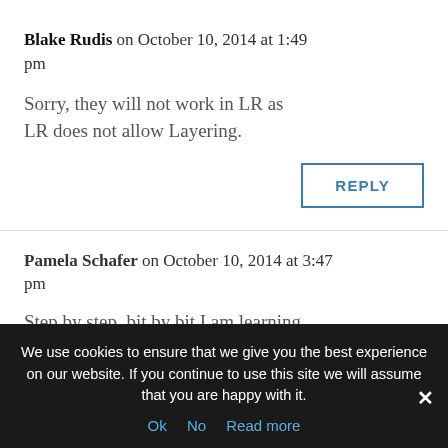Blake Rudis on October 10, 2014 at 1:49 pm
Sorry, they will not work in LR as LR does not allow Layering.
REPLY
Pamela Schafer on October 10, 2014 at 3:47 pm
Step by step, bit by bit I am learning...
We use cookies to ensure that we give you the best experience on our website. If you continue to use this site we will assume that you are happy with it.
Ok   No   Read more